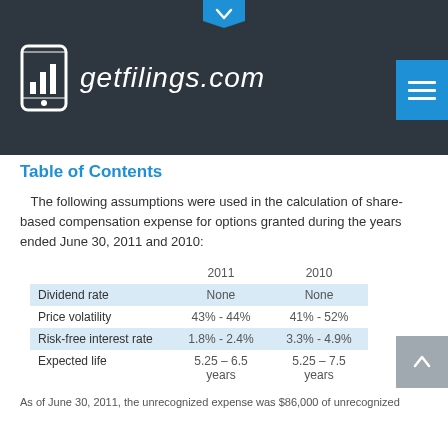getfilings.com
Table of Contents
The following assumptions were used in the calculation of share-based compensation expense for options granted during the years ended June 30, 2011 and 2010:
|  | 2011 | 2010 |
| --- | --- | --- |
| Dividend rate | None | None |
| Price volatility | 43% - 44% | 41% - 52% |
| Risk-free interest rate | 1.8% - 2.4% | 3.3% - 4.9% |
| Expected life | 5.25 – 6.5 years | 5.25 – 7.5 years |
As of June 30, 2011, the unrecognized expense was $86,000 of unrecognized...